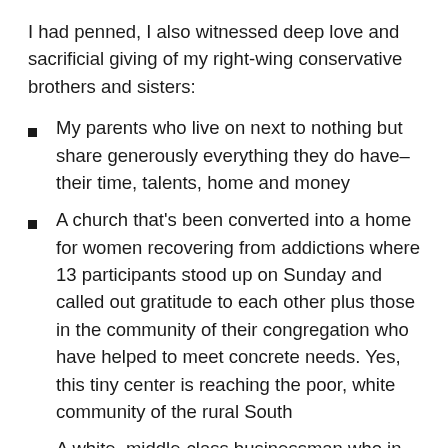I had penned, I also witnessed deep love and sacrificial giving of my right-wing conservative brothers and sisters:
My parents who live on next to nothing but share generously everything they do have–their time, talents, home and money
A church that's been converted into a home for women recovering from addictions where 13 participants stood up on Sunday and called out gratitude to each other plus those in the community of their congregation who have helped to meet concrete needs. Yes, this tiny center is reaching the poor, white community of the rural South
A white, middle-class businessman who in the middle of sharing his political views with me on the streets of downtown Little Rock, Arkansas, generously shared his time and resources with those some, might label a